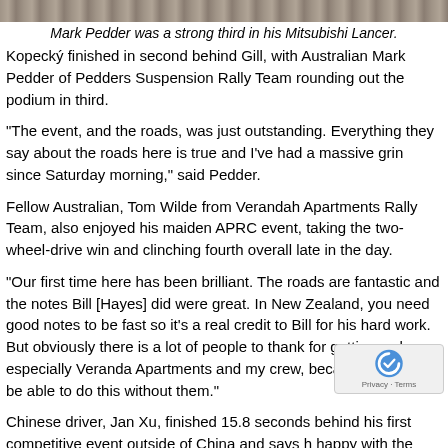[Figure (photo): Horizontal photo strip at top of page showing a gravel road or rally stage surface]
Mark Pedder was a strong third in his Mitsubishi Lancer.
Kopecký finished in second behind Gill, with Australian Mark Pedder of Pedders Suspension Rally Team rounding out the podium in third.
“The event, and the roads, was just outstanding. Everything they say about the roads here is true and I’ve had a massive grin since Saturday morning,” said Pedder.
Fellow Australian, Tom Wilde from Verandah Apartments Rally Team, also enjoyed his maiden APRC event, taking the two-wheel-drive win and clinching fourth overall late in the day.
“Our first time here has been brilliant. The roads are fantastic and the notes Bill [Hayes] did were great. In New Zealand, you need good notes to be fast so it’s a real credit to Bill for his hard work. But obviously there is a lot of people to thank for getting us here, especially Veranda Apartments and my crew, because I wouldn’t be able to do this without them.”
Chinese driver, Jan Xu, finished 15.8 seconds behind [...] his first competitive event outside of China and says h[...] happy with the result.